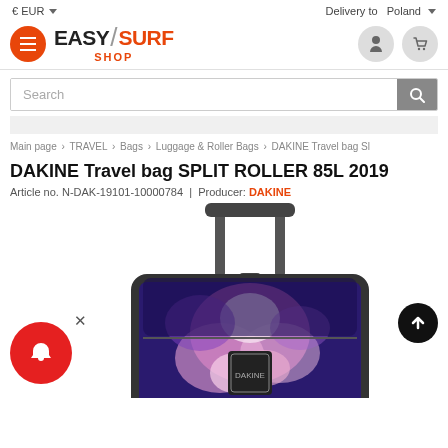€ EUR ▼   Delivery to   Poland ▼
[Figure (logo): EasySurf Shop logo with orange hamburger menu button, stylized EASY/SURF text with diagonal slash, and SHOP subtitle in orange]
[Figure (screenshot): Search bar with placeholder text 'Search' and grey search button with magnifying glass icon]
Main page > TRAVEL > Bags > Luggage & Roller Bags > DAKINE Travel bag Sl
DAKINE Travel bag SPLIT ROLLER 85L 2019
Article no. N-DAK-19101-10000784 | Producer: DAKINE
[Figure (photo): DAKINE Split Roller 85L 2019 travel bag/suitcase with colorful tie-dye pattern in purple, pink, and white, with telescoping handle extended]